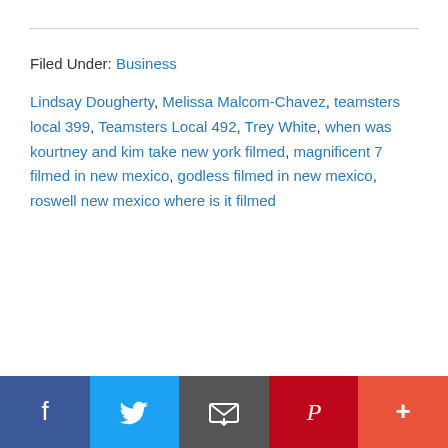Filed Under: Business
Lindsay Dougherty, Melissa Malcom-Chavez, teamsters local 399, Teamsters Local 492, Trey White, when was kourtney and kim take new york filmed, magnificent 7 filmed in new mexico, godless filmed in new mexico, roswell new mexico where is it filmed
Social share bar: Facebook, Twitter, Email, Pinterest, More